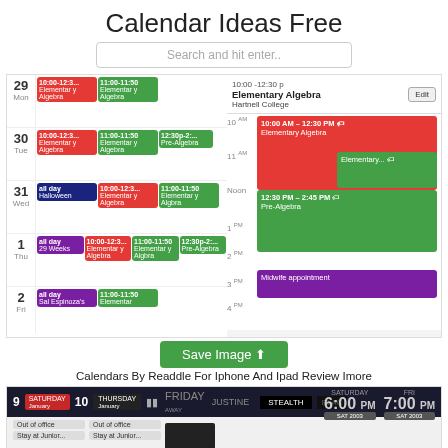Calendar Ideas Free
Search and hit enter..
[Figure (screenshot): Screenshot of a calendar app showing weekly view for Oct 29-Nov 2 with Elementary Algebra and Pre-Algebra events, plus a detail panel on the right showing time slots from 10AM-5PM with colored event blocks.]
[Figure (other): Save Image button with upload icon]
Calendars By Readdle For Iphone And Ipad Review Imore
[Figure (screenshot): Second calendar app screenshot showing a dark-themed week view with STEALTH mode, time displays showing 6:00 and 7:00, calendar events Out of office and Stay at Junior's]